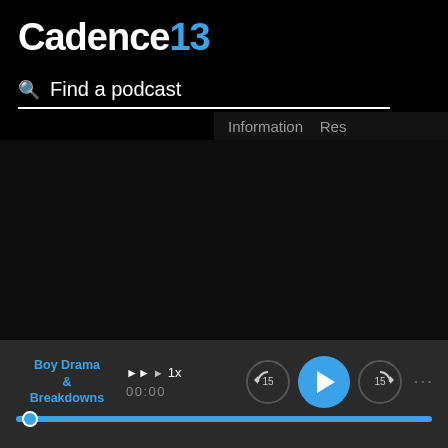Cadence13
Find a podcast
Information  Res
[Figure (screenshot): Dark empty content area of a podcast web application]
Boy Drama & Breakdowns  ►► 1x  00:00
[Figure (other): Podcast player controls: skip back 15s button, play button (blue circle with triangle), skip forward 15s button, and a progress bar in blue at the bottom]